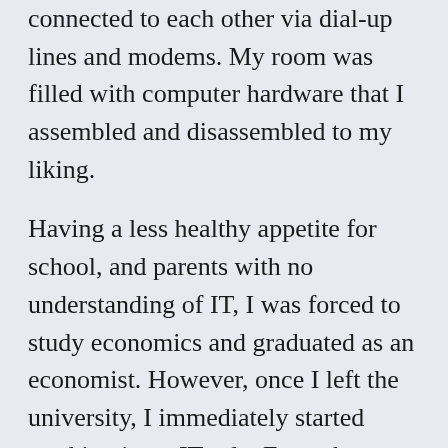connected to each other via dial-up lines and modems. My room was filled with computer hardware that I assembled and disassembled to my liking.
Having a less healthy appetite for school, and parents with no understanding of IT, I was forced to study economics and graduated as an economist. However, once I left the university, I immediately started working in an IT role. From then on, I went from network engineer to system engineer and ended up in security-related roles: first in security engineering and later growing toward policy writing, auditing, and risk assessments. I have always worked in the financial industry. Moving toward a company such as Lineas was a very conscious decision. Over the years, my feeling that the financial industry had become overregulated grew stronger. Too much of my